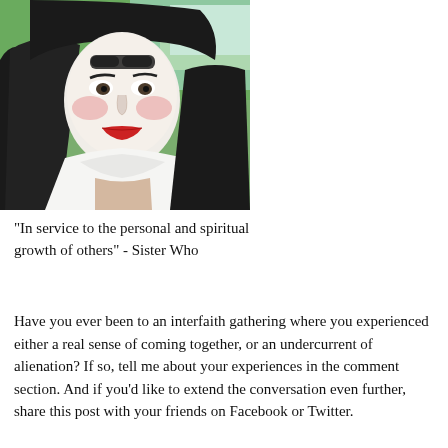[Figure (photo): A person wearing white face paint with rosy cheeks and red lips, dressed in a black habit-like garment with a white collar or wrap around the neck, photographed outdoors with trees and sunlight in the background.]
"In service to the personal and spiritual growth of others" - Sister Who
Have you ever been to an interfaith gathering where you experienced either a real sense of coming together, or an undercurrent of alienation? If so, tell me about your experiences in the comment section. And if you'd like to extend the conversation even further, share this post with your friends on Facebook or Twitter.